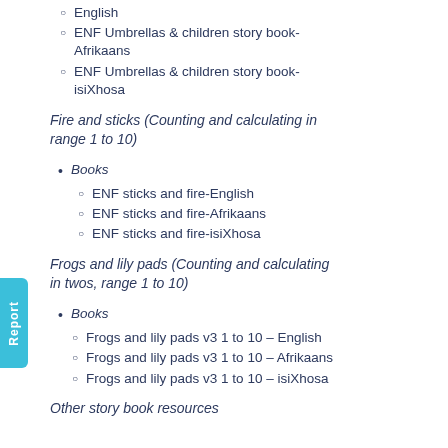English
ENF Umbrellas & children story book- Afrikaans
ENF Umbrellas & children story book- isiXhosa
Fire and sticks (Counting and calculating in range 1 to 10)
Books
ENF sticks and fire-English
ENF sticks and fire-Afrikaans
ENF sticks and fire-isiXhosa
Frogs and lily pads (Counting and calculating in twos, range 1 to 10)
Books
Frogs and lily pads v3 1 to 10 – English
Frogs and lily pads v3 1 to 10 – Afrikaans
Frogs and lily pads v3 1 to 10 – isiXhosa
Other story book resources